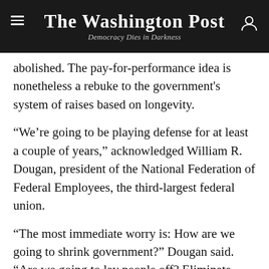The Washington Post — Democracy Dies in Darkness
abolished. The pay-for-performance idea is nonetheless a rebuke to the government's system of raises based on longevity.
“We’re going to be playing defense for at least a couple of years,” acknowledged William R. Dougan, president of the National Federation of Federal Employees, the third-largest federal union.
“The most immediate worry is: How are we going to shrink government?” Dougan said. “Are we going to lay people off? Eliminate whole agencies or do it through attrition?”